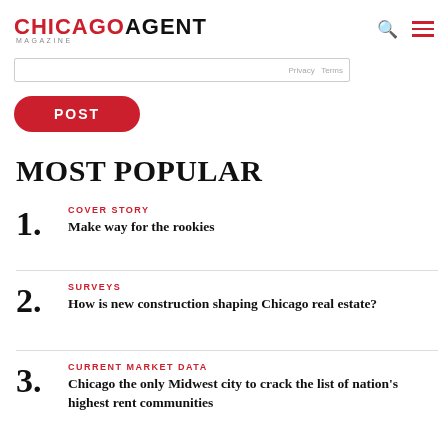CHICAGO AGENT MAGAZINE
MOST POPULAR
1. COVER STORY — Make way for the rookies
2. SURVEYS — How is new construction shaping Chicago real estate?
3. CURRENT MARKET DATA — Chicago the only Midwest city to crack the list of nation's highest rent communities